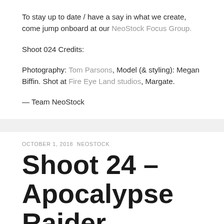To stay up to date / have a say in what we create, come jump onboard at our NeoStock Focus Group.
Shoot 024 Credits:
Photography: Tom Parsons, Model (& styling): Megan Biffin. Shot at Fire Eye Land studios, Margate.
— Team NeoStock
OCTOBER 1, 2018 NEOSTOCK
Shoot 24 – Apocalypse Raider